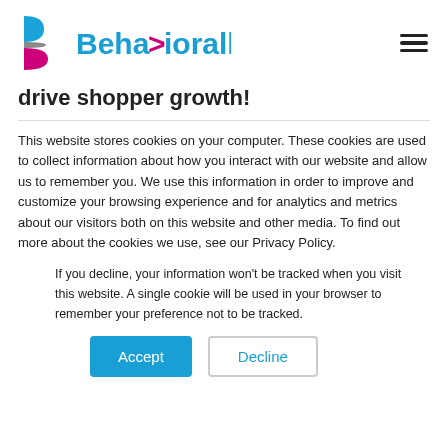[Figure (logo): Behaviorally logo with stylized B icon in blue, gray, and pink/magenta and the text 'Beha>iorally' in blue with a pink/magenta arrow-like chevron]
drive shopper growth!
This website stores cookies on your computer. These cookies are used to collect information about how you interact with our website and allow us to remember you. We use this information in order to improve and customize your browsing experience and for analytics and metrics about our visitors both on this website and other media. To find out more about the cookies we use, see our Privacy Policy.
If you decline, your information won't be tracked when you visit this website. A single cookie will be used in your browser to remember your preference not to be tracked.